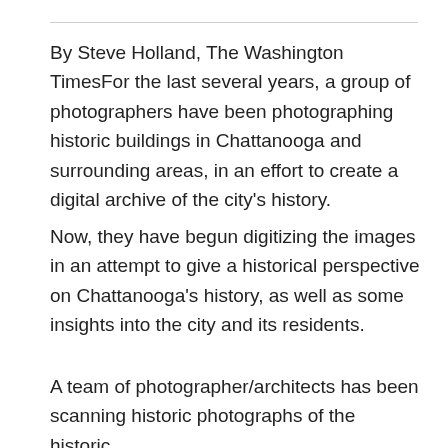By Steve Holland, The Washington TimesFor the last several years, a group of photographers have been photographing historic buildings in Chattanooga and surrounding areas, in an effort to create a digital archive of the city's history.
Now, they have begun digitizing the images in an attempt to give a historical perspective on Chattanooga's history, as well as some insights into the city and its residents.
A team of photographer/architects has been scanning historic photographs of the historic